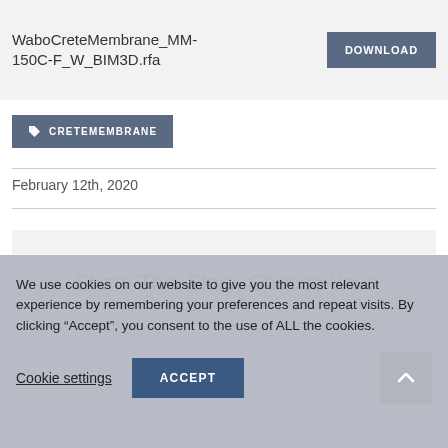WaboCreteMembrane_MM-150C-F_W_BIM3D.rfa
DOWNLOAD
CRETEMEMBRANE
February 12th, 2020
Share This Story, Choose Your
We use cookies on our website to give you the most relevant experience by remembering your preferences and repeat visits. By clicking “Accept”, you consent to the use of ALL the cookies.
Cookie settings
ACCEPT